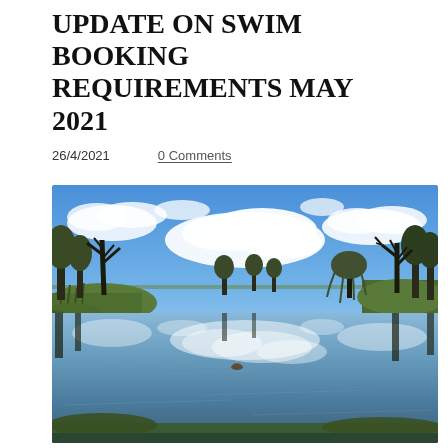UPDATE ON SWIM BOOKING REQUIREMENTS MAY 2021
26/4/2021    0 Comments
[Figure (photo): Outdoor pond or lake with calm reflective water, surrounded by trees with bare winter branches and early spring greenery. Blue sky with fluffy white clouds reflected in the water surface. A small object visible in the center of the water.]